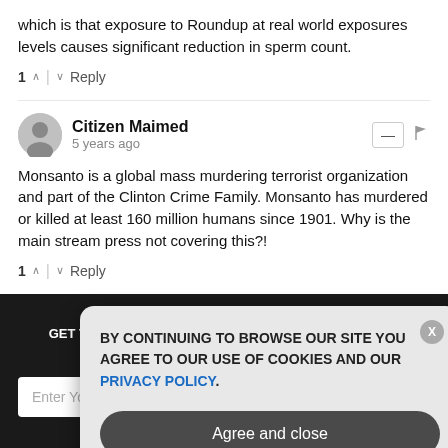which is that exposure to Roundup at real world exposures levels causes significant reduction in sperm count.
1 ∧ | ∨ Reply
Citizen Maimed
5 years ago
Monsanto is a global mass murdering terrorist organization and part of the Clinton Crime Family. Monsanto has murdered or killed at least 160 million humans since 1901. Why is the main stream press not covering this?!
1 ∧ | ∨ Reply
GET THE WORLD'S BEST NATURAL HEALTH NEWSLETTER DELIVERED STRAIGHT TO YOUR INBOX
BY CONTINUING TO BROWSE OUR SITE YOU AGREE TO OUR USE OF COOKIES AND OUR PRIVACY POLICY.
Agree and close